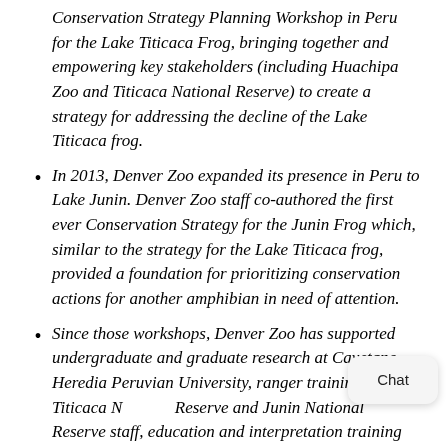Conservation Strategy Planning Workshop in Peru for the Lake Titicaca Frog, bringing together and empowering key stakeholders (including Huachipa Zoo and Titicaca National Reserve) to create a strategy for addressing the decline of the Lake Titicaca frog.
In 2013, Denver Zoo expanded its presence in Peru to Lake Junin. Denver Zoo staff co-authored the first ever Conservation Strategy for the Junin Frog which, similar to the strategy for the Lake Titicaca frog, provided a foundation for prioritizing conservation actions for another amphibian in need of attention.
Since those workshops, Denver Zoo has supported undergraduate and graduate research at Cayetano Heredia Peruvian University, ranger training for Titicaca National Reserve and Junin National Reserve staff, education and interpretation training for